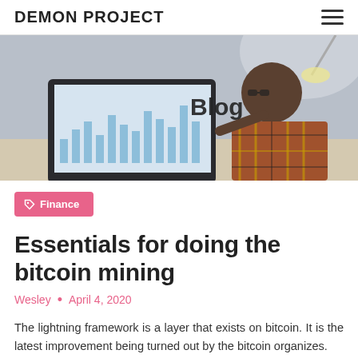DEMON PROJECT
[Figure (photo): A man with glasses sitting at a desk, viewed from behind, looking at a screen showing a bar chart. The word 'Blog' is overlaid on the image.]
Finance
Essentials for doing the bitcoin mining
Wesley • April 4, 2020
The lightning framework is a layer that exists on bitcoin. It is the latest improvement being turned out by the bitcoin organizes.